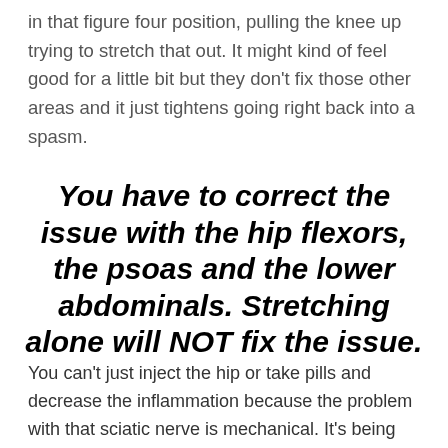in that figure four position, pulling the knee up trying to stretch that out. It might kind of feel good for a little bit but they don't fix those other areas and it just tightens going right back into a spasm.
You have to correct the issue with the hip flexors, the psoas and the lower abdominals. Stretching alone will NOT fix the issue.
You can't just inject the hip or take pills and decrease the inflammation because the problem with that sciatic nerve is mechanical. It's being